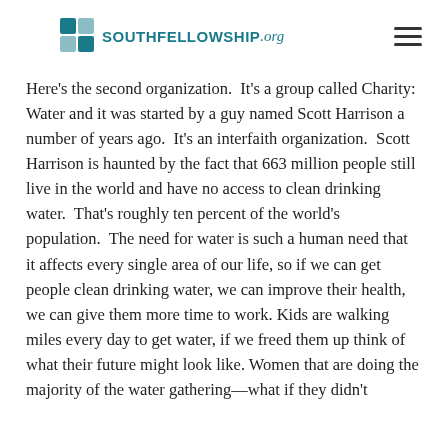SOUTHFELLOWSHIP.org
Here's the second organization.  It's a group called Charity: Water and it was started by a guy named Scott Harrison a number of years ago.  It's an interfaith organization.  Scott Harrison is haunted by the fact that 663 million people still live in the world and have no access to clean drinking water.  That's roughly ten percent of the world's population.  The need for water is such a human need that it affects every single area of our life, so if we can get people clean drinking water, we can improve their health, we can give them more time to work. Kids are walking miles every day to get water, if we freed them up think of what their future might look like. Women that are doing the majority of the water gathering—what if they didn't